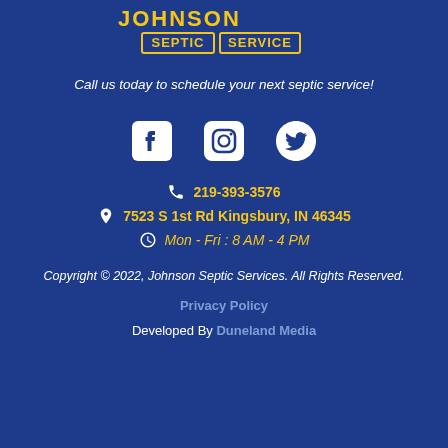[Figure (logo): Johnson Septic Service logo with yellow text on dark blue background showing 'SEPTIC SERVICE' in bordered rectangles]
Call us today to schedule your next septic service!
[Figure (illustration): Three social media icons: Facebook, Instagram, Twitter in white]
219-393-3576
7523 S 1st Rd Kingsbury, IN 46345
Mon - Fri : 8 AM - 4 PM
Copyright © 2022, Johnson Septic Services. All Rights Reserved.
Privacy Policy
Developed By Duneland Media